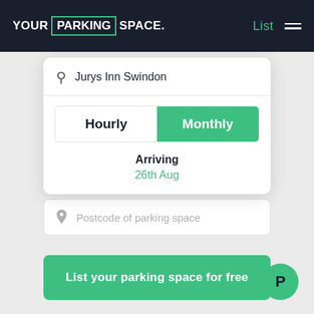YOUR PARKING SPACE. | List ≡
[Figure (screenshot): Search dropdown card with search bar showing 'Jurys Inn Swindon', Hourly/Monthly toggle with Monthly selected, and Arriving date '26th Aug']
Postcode of parking space
List your parking space for free
P